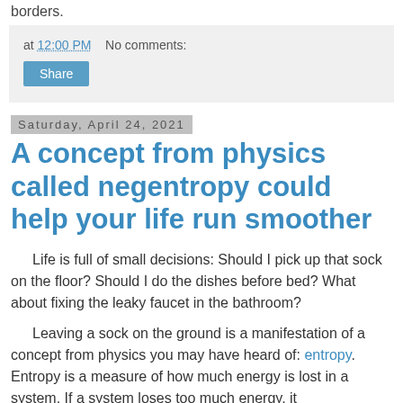borders.
at 12:00 PM   No comments:
Share
Saturday, April 24, 2021
A concept from physics called negentropy could help your life run smoother
Life is full of small decisions: Should I pick up that sock on the floor? Should I do the dishes before bed? What about fixing the leaky faucet in the bathroom?
Leaving a sock on the ground is a manifestation of a concept from physics you may have heard of: entropy. Entropy is a measure of how much energy is lost in a system. If a system loses too much energy, it